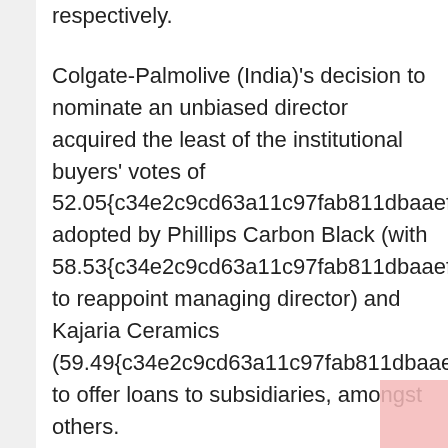respectively.
Colgate-Palmolive (India)'s decision to nominate an unbiased director acquired the least of the institutional buyers' votes of 52.05{c34e2c9cd63a11c97fab811dbaaefe0cfbb1edd2527888e1a44d36f3491ee811}, adopted by Phillips Carbon Black (with 58.53{c34e2c9cd63a11c97fab811dbaaefe0cfbb1edd2527888e1a44d36f3491ee811} to reappoint managing director) and Kajaria Ceramics (59.49{c34e2c9cd63a11c97fab811dbaaefe0cfbb1edd2527888e1a44d36f3491ee811} to offer loans to subsidiaries, amongst others.
In the course of the earlier week, institutional buyers voted towards six resolutions, of which